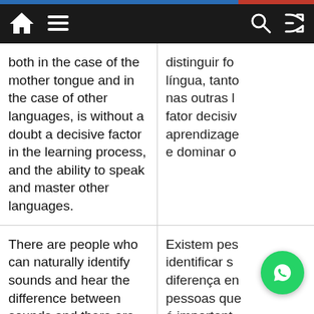Navigation bar with home, menu, search, and shuffle icons
both in the case of the mother tongue and in the case of other languages, is without a doubt a decisive factor in the learning process, and the ability to speak and master other languages.
distinguir fo língua, tanto nas outras l fator decisiv aprendizage e dominar o
There are people who can naturally identify sounds and hear the difference between sounds and there are those who can't, therefore it's important to learn the sounds and pronunciation of the language you're learning.
Existem pes identificar s diferença en pessoas que é important pronúncia d aprendando
The sooner you start the better.
Qu mai melhor.